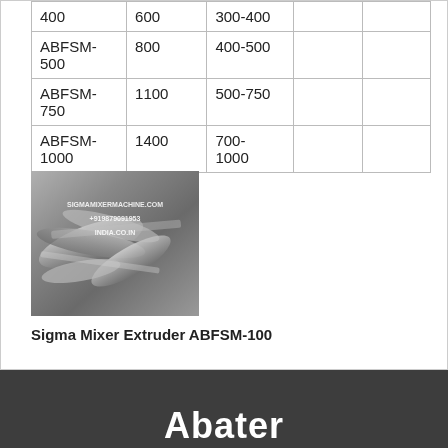| 400 | 600 | 300-400 |  |  |
| ABFSM-500 | 800 | 400-500 |  |  |
| ABFSM-750 | 1100 | 500-750 |  |  |
| ABFSM-1000 | 1400 | 700-1000 |  |  |
[Figure (photo): Metallic sigma mixer extruder blades/rotors, with watermark text SIGMAMIXERMACHINE.COM, +919879091953, and INDIACO.IN]
Sigma Mixer Extruder ABFSM-100
Abater